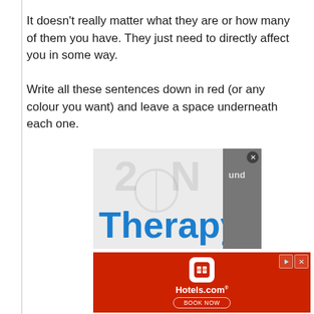It doesn't really matter what they are or how many of them you have. They just need to directly affect you in some way.
Write all these sentences down in red (or any colour you want) and leave a space underneath each one.
[Figure (other): Advertisement banner showing the word 'Therapy' in large blue bold text on a light gray background with faint watermark letters, with ad controls (play and close buttons) in the top right corner, and a partial side panel showing 'und' text.]
[Figure (other): Hotels.com advertisement banner on red background with Hotels.com logo icon, Hotels.com brand name with trademark, and 'BOOK NOW' button outline.]